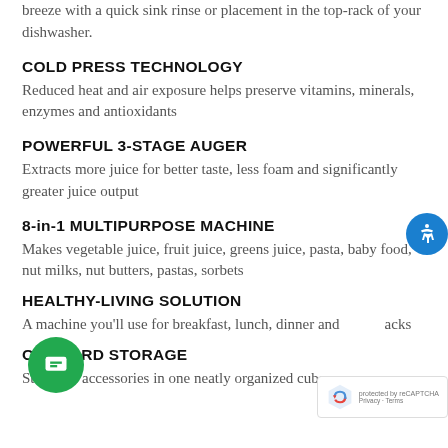breeze with a quick sink rinse or placement in the top-rack of your dishwasher.
COLD PRESS TECHNOLOGY
Reduced heat and air exposure helps preserve vitamins, minerals, enzymes and antioxidants
POWERFUL 3-STAGE AUGER
Extracts more juice for better taste, less foam and significantly greater juice output
8-in-1 MULTIPURPOSE MACHINE
Makes vegetable juice, fruit juice, greens juice, pasta, baby food, nut milks, nut butters, pastas, sorbets
HEALTHY-LIVING SOLUTION
A machine you'll use for breakfast, lunch, dinner and snacks
ONBOARD STORAGE
Stores all accessories in one neatly organized cube